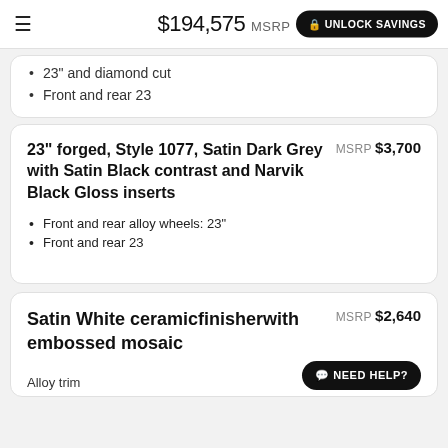$194,575 MSRP  UNLOCK SAVINGS
23" and diamond cut
Front and rear 23
23" forged, Style 1077, Satin Dark Grey with Satin Black contrast and Narvik Black Gloss inserts
MSRP $3,700
Front and rear alloy wheels: 23"
Front and rear 23
Satin White ceramicfinisherwith embossed mosaic
MSRP $2,640
Alloy trim
NEED HELP?